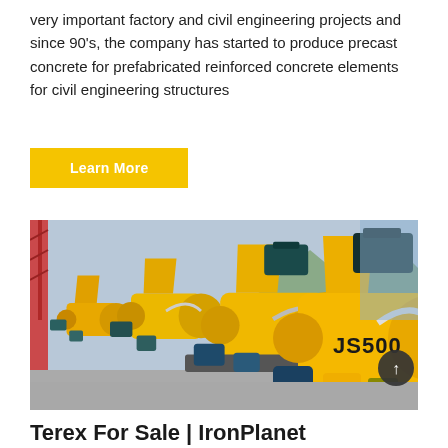very important factory and civil engineering projects and since 90's, the company has started to produce precast concrete for prefabricated reinforced concrete elements for civil engineering structures
Learn More
[Figure (photo): Row of yellow JS500 twin-shaft concrete mixer machines lined up in a yard, with blue electric motors visible and a crane structure in the background.]
Terex For Sale | IronPlanet